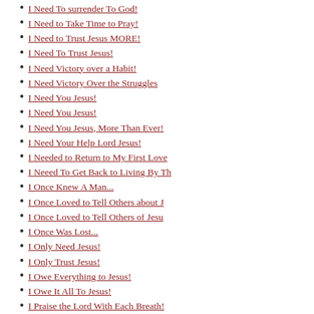I Need To surrender To God!
I Need to Take Time to Pray!
I Need to Trust Jesus MORE!
I Need To Trust Jesus!
I Need Victory over a Habit!
I Need Victory Over the Struggles
I Need You Jesus!
I Need You Jesus!
I Need You Jesus, More Than Ever!
I Need Your Help Lord Jesus!
I Needed to Return to My First Love
I Neeed To Get Back to Living By Th
I Once Knew A Man...
I Once Loved to Tell Others about J
I Once Loved to Tell Others of Jesu
I Once Was Lost...
I Only Need Jesus!
I Only Trust Jesus!
I Owe Everything to Jesus!
I Owe It All To Jesus!
I Praise the Lord With Each Breath!
I Pray for My Children and Family
I Pray for My Children...
I Pray for My Son
I Pray That God Will Strengthen You
I Put My Faith in Christ! Not Men
I Read about God, in the Bible!
I Realize How Much Jesus Means
I Really need Jesus!
I Remember Back When